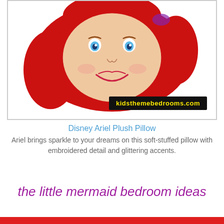[Figure (photo): A red plush pillow shaped like Disney's Ariel character, showing her face with blue eyes, red hair, and a smile. The pillow has a watermark 'kidsthemebedrooms.com' in yellow text on a black background.]
Disney Ariel Plush Pillow
Ariel brings sparkle to your dreams on this soft-stuffed pillow with embroidered detail and glittering accents.
the little mermaid bedroom ideas